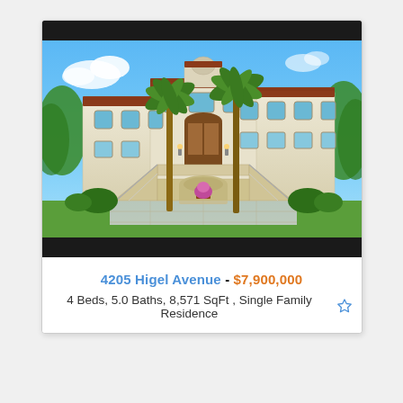[Figure (photo): Exterior photo of a large Mediterranean-style luxury home with white stucco facade, red tile roof, arched entryway with double staircase, tall palm trees, and manicured lawn under a bright blue sky.]
4205 Higel Avenue - $7,900,000
4 Beds, 5.0 Baths, 8,571 SqFt , Single Family Residence ☆